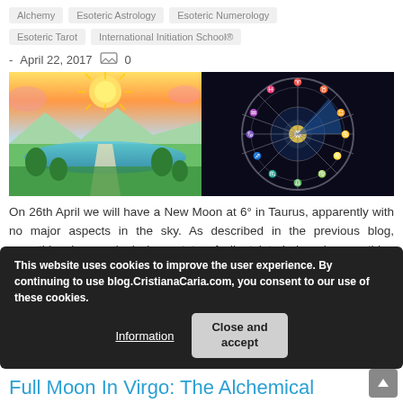Alchemy
Esoteric Astrology
Esoteric Numerology
Esoteric Tarot
International Initiation School®
- April 22, 2017   0
[Figure (illustration): Split image: left side shows a colorful fantasy landscape painting with a sun, mountains, water and path; right side shows a zodiac wheel on dark background with astrological symbols]
On 26th April we will have a New Moon at 6° in Taurus, apparently with no major aspects in the sky. As described in the previous blog, everything is seemingly in a state of silent interlude, where nothing happens, but many things
This website uses cookies to improve the user experience. By continuing to use blog.CristianaCaria.com, you consent to our use of these cookies.
Information
Close and accept
Full Moon In Virgo: The Alchemical